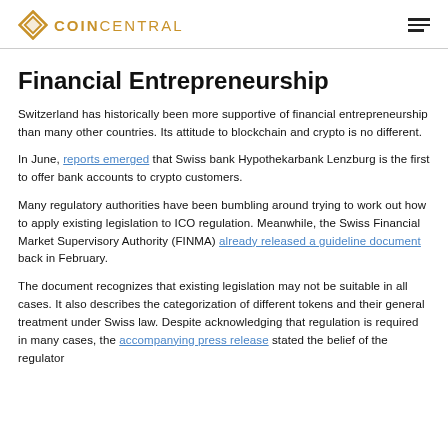COINCENTRAL
Financial Entrepreneurship
Switzerland has historically been more supportive of financial entrepreneurship than many other countries. Its attitude to blockchain and crypto is no different.
In June, reports emerged that Swiss bank Hypothekarbank Lenzburg is the first to offer bank accounts to crypto customers.
Many regulatory authorities have been bumbling around trying to work out how to apply existing legislation to ICO regulation. Meanwhile, the Swiss Financial Market Supervisory Authority (FINMA) already released a guideline document back in February.
The document recognizes that existing legislation may not be suitable in all cases. It also describes the categorization of different tokens and their general treatment under Swiss law. Despite acknowledging that regulation is required in many cases, the accompanying press release stated the belief of the regulator